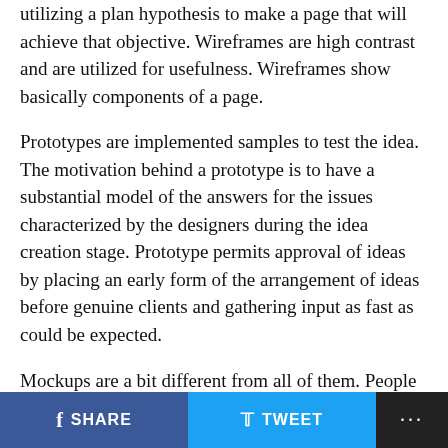utilizing a plan hypothesis to make a page that will achieve that objective. Wireframes are high contrast and are utilized for usefulness. Wireframes show basically components of a page.
Prototypes are implemented samples to test the idea. The motivation behind a prototype is to have a substantial model of the answers for the issues characterized by the designers during the idea creation stage. Prototype permits approval of ideas by placing an early form of the arrangement of ideas before genuine clients and gathering input as fast as could be expected.
Mockups are a bit different from all of them. People tend to skip this stage because they consider it less important. But we need to understand that every bit of this process is equally important and incessant just as others.
SHARE   TWEET   ...